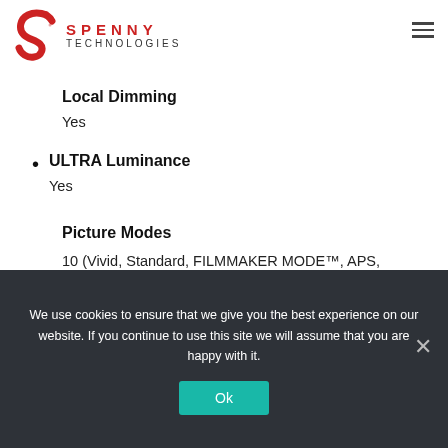SPENNY TECHNOLOGIES
Local Dimming
Yes
ULTRA Luminance
Yes
Picture Modes
10 (Vivid, Standard, FILMMAKER MODE™, APS, Cinema, Cricket, Game, HDR Effect, ISF Bright Room, ISF Dark Room)
We use cookies to ensure that we give you the best experience on our website. If you continue to use this site we will assume that you are happy with it.